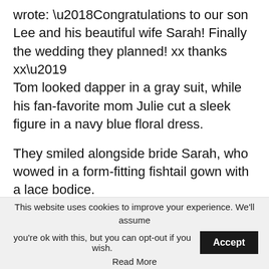wrote: ‘Congratulations to our son Lee and his beautiful wife Sarah! Finally the wedding they planned! xx thanks xx’ Tom looked dapper in a gray suit, while his fan-favorite mom Julie cut a sleek figure in a navy blue floral dress.
They smiled alongside bride Sarah, who wowed in a form-fitting fishtail gown with a lace bodice.
Meanwhile, Lee looked dapper in a beige blazer and matching tie, which he paired with gray
This website uses cookies to improve your experience. We’ll assume you’re ok with this, but you can opt-out if you wish. Accept Read More